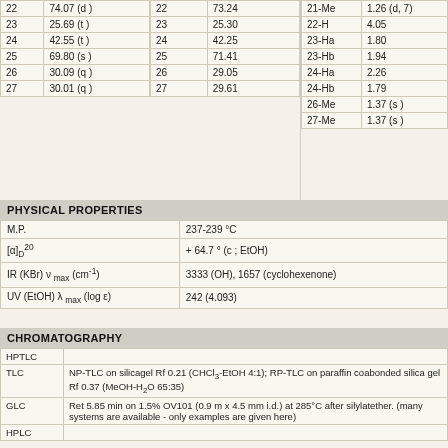| Position | δC (mult) |
| --- | --- |
| 22 | 74.07 (d ) |
| 23 | 25.69 (t ) |
| 24 | 42.55 (t ) |
| 25 | 69.80 (s ) |
| 26 | 30.09 (q ) |
| 27 | 30.01 (q ) |
| Position | δC |
| --- | --- |
| 22 | 73.24 |
| 23 | 25.30 |
| 24 | 42.25 |
| 25 | 71.41 |
| 26 | 29.05 |
| 27 | 29.61 |
| Proton | δH |
| --- | --- |
| 21-Me | 1.26 (d, 7) |
| 22-H | 4.05 |
| 23-Ha | 1.80 |
| 23-Hb | 1.94 |
| 24-Ha | 2.26 |
| 24-Hb | 1.79 |
| 26-Me | 1.37 (s ) |
| 27-Me | 1.37 (s ) |
PHYSICAL PROPERTIES
| Property | Value |
| --- | --- |
| M.P. | 237-239 °C |
| [α]D20 | + 64.7 ° (c ; EtOH) |
| IR (KBr) ν max (cm-1) | 3333 (OH), 1657 (cyclohexenone) |
| UV (EtOH) λ max (log ε) | 242 (4.093) |
CHROMATOGRAPHY
| Method | Details |
| --- | --- |
| HPTLC |  |
| TLC | NP-TLC on silicagel Rf 0.21 (CHCl3-EtOH 4:1); RP-TLC on paraffin coated bonded silica gel Rf 0.37 (MeOH-H2O 65:35) |
| GLC | Ret 5.85 min on 1.5% OV101 (0.9 m x 4.5 mm i.d.) at 285°C after silylation ether. (many systems are available - only examples are given here) |
| HPLC |  |